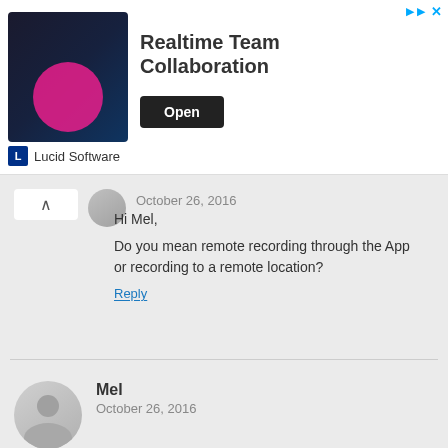[Figure (illustration): Advertisement banner for Lucid Software - Realtime Team Collaboration with an Open button]
October 26, 2016
Hi Mel,

Do you mean remote recording through the App or recording to a remote location?
Reply
Mel
October 26, 2016
Hiya

thanks for responding

Recording to a hard drive?
Reply